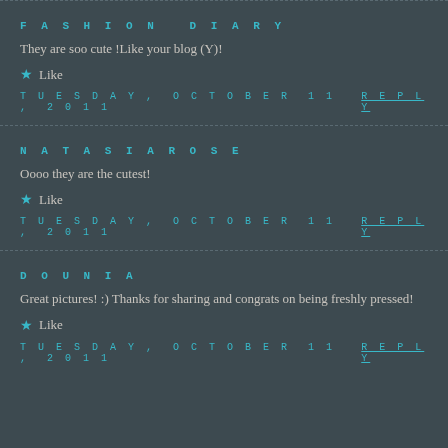FASHION DIARY
They are soo cute !Like your blog (Y)!
★ Like
TUESDAY, OCTOBER 11, 2011   REPLY
NATASIAROSE
Oooo they are the cutest!
★ Like
TUESDAY, OCTOBER 11, 2011   REPLY
DOUNIA
Great pictures! :) Thanks for sharing and congrats on being freshly pressed!
★ Like
TUESDAY, OCTOBER 11, 2011   REPLY